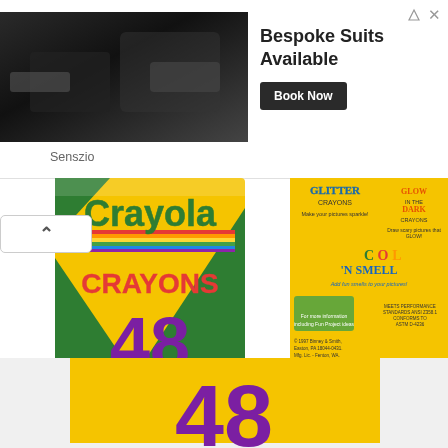[Figure (photo): Advertisement banner: photo of person in suit being measured on left, text 'Bespoke Suits Available' with 'Book Now' button on right, branded 'Senszio']
[Figure (photo): Front of Crayola 48-count crayon box, yellow and green with 'Crayola CRAYONS 48' text]
[Figure (photo): Back of Crayola 48-count crayon box showing Glitter Crayons, Glow in the Dark Crayons, Color 'N Smell branding, barcode, and product information]
[Figure (photo): Close-up bottom view of crayon box showing yellow background and partial '48' text in purple]